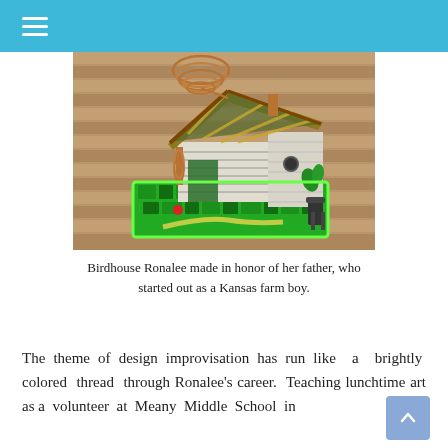≡
[Figure (photo): A decorative birdhouse made with mosaic tiles, a green roof with gold accents, copper wire coil on top, sitting on a green mosaic base on a wooden deck.]
Birdhouse Ronalee made in honor of her father, who started out as a Kansas farm boy.
The theme of design improvisation has run like a brightly colored thread through Ronalee's career. Teaching lunchtime art as a volunteer at Meany Middle School in